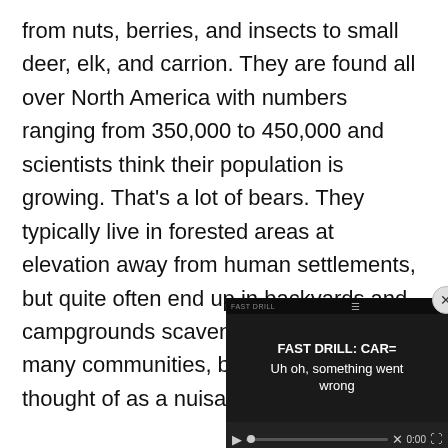from nuts, berries, and insects to small deer, elk, and carrion. They are found all over North America with numbers ranging from 350,000 to 450,000 and scientists think their population is growing. That's a lot of bears. They typically live in forested areas at elevation away from human settlements, but quite often end up in backyards and campgrounds scavenging for food. In many communities, black bears are thought of as a nuisance.
All of this means black bea... of dying out, even with te... killed each year by permitt... continued growth means t...
[Figure (screenshot): Embedded video player overlay showing 'FAST DRILL: CAR=' with error message 'Uh oh, something went wrong' and playback controls showing 0:00 timestamp. A close (x) button appears in the top-right corner.]